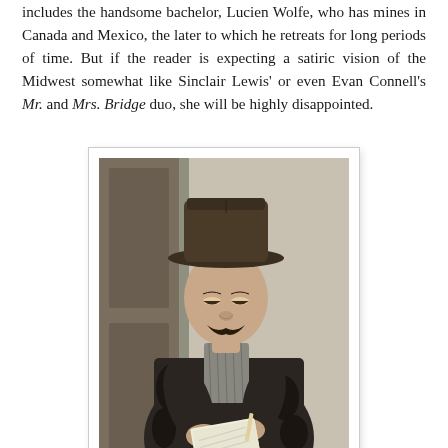includes the handsome bachelor, Lucien Wolfe, who has mines in Canada and Mexico, the later to which he retreats for long periods of time. But if the reader is expecting a satiric vision of the Midwest somewhat like Sinclair Lewis' or even Evan Connell's Mr. and Mrs. Bridge duo, she will be highly disappointed.
[Figure (photo): Black and white photograph of a man wearing a wide-brimmed hat and a fur coat, looking down at a notepad or book he is reading. He has a mustache. The background suggests a doorway or wall.]